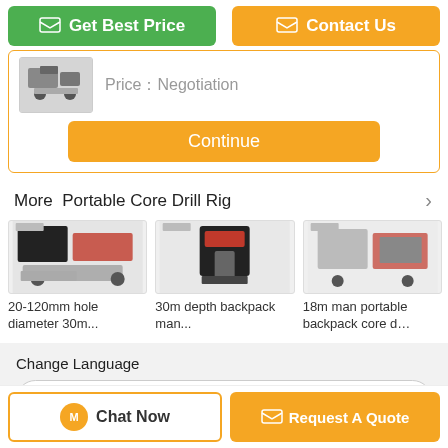[Figure (screenshot): Get Best Price button (green) and Contact Us button (orange) at top]
[Figure (screenshot): Product thumbnail image of drill rig with Price Negotiation text and Continue button]
Price：Negotiation
More  Portable Core Drill Rig
[Figure (photo): 20-120mm hole diameter 30m... portable core drill rig product image]
20-120mm hole diameter 30m...
[Figure (photo): 30m depth backpack man... portable core drill rig product image]
30m depth backpack man...
[Figure (photo): 18m man portable backpack core d... product image]
18m man portable backpack core d...
Change Language
english
Chat Now
Request A Quote